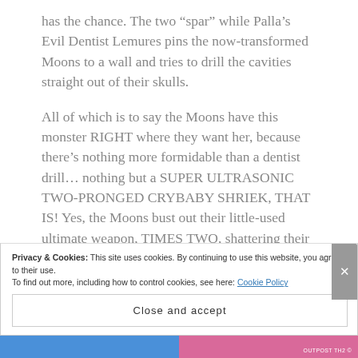has the chance. The two “spar” while Palla’s Evil Dentist Lemures pins the now-transformed Moons to a wall and tries to drill the cavities straight out of their skulls.
All of which is to say the Moons have this monster RIGHT where they want her, because there’s nothing more formidable than a dentist drill… nothing but a SUPER ULTRASONIC TWO-PRONGED CRYBABY SHRIEK, THAT IS! Yes, the Moons bust out their little-used ultimate weapon, TIMES TWO, shattering their manacles, the decorative fish tanks, and everybody’s
Privacy & Cookies: This site uses cookies. By continuing to use this website, you agree to their use.
To find out more, including how to control cookies, see here: Cookie Policy
Close and accept